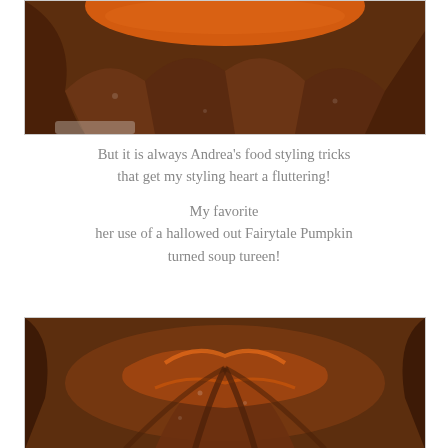[Figure (photo): Close-up top-down view of a hallowed-out dark reddish-brown Fairytale Pumpkin showing the orange interior, used as a soup tureen. Photographed from above on a white surface.]
But it is always Andrea's food styling tricks that get my styling heart a fluttering!

My favorite
her use of a hallowed out Fairytale Pumpkin turned soup tureen!
[Figure (photo): Close-up interior view of a hallowed-out Fairytale Pumpkin turned soup tureen, showing orange-hued soup inside the dark brown pumpkin shell, viewed from above.]